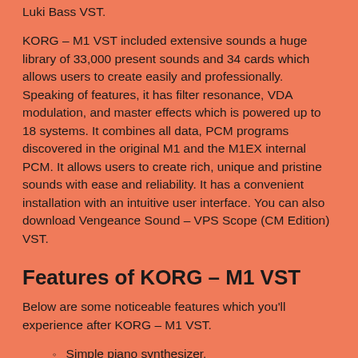Luki Bass VST.
KORG – M1 VST included extensive sounds a huge library of 33,000 present sounds and 34 cards which allows users to create easily and professionally. Speaking of features, it has filter resonance, VDA modulation, and master effects which is powered up to 18 systems. It combines all data, PCM programs discovered in the original M1 and the M1EX internal PCM. It allows users to create rich, unique and pristine sounds with ease and reliability. It has a convenient installation with an intuitive user interface. You can also download Vengeance Sound – VPS Scope (CM Edition) VST.
Features of KORG – M1 VST
Below are some noticeable features which you'll experience after KORG – M1 VST.
Simple piano synthesizer.
Advanced integration of synthesizer for better quality.